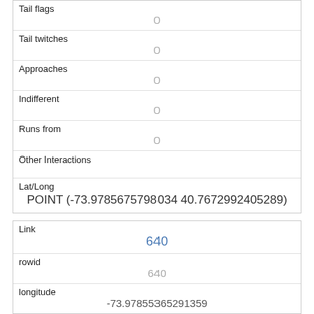| Tail flags | 0 |
| Tail twitches | 0 |
| Approaches | 0 |
| Indifferent | 0 |
| Runs from | 0 |
| Other Interactions |  |
| Lat/Long | POINT (-73.9785675798034 40.7672992405289) |
| Link | 640 |
| rowid | 640 |
| longitude | -73.97855365291359 |